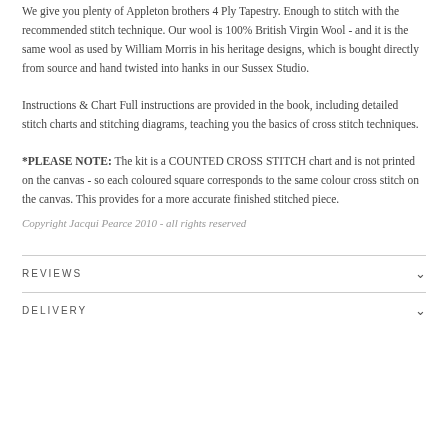We give you plenty of Appleton brothers 4 Ply Tapestry. Enough to stitch with the recommended stitch technique. Our wool is 100% British Virgin Wool - and it is the same wool as used by William Morris in his heritage designs, which is bought directly from source and hand twisted into hanks in our Sussex Studio.
Instructions & Chart Full instructions are provided in the book, including detailed stitch charts and stitching diagrams, teaching you the basics of cross stitch techniques.
*PLEASE NOTE: The kit is a COUNTED CROSS STITCH chart and is not printed on the canvas - so each coloured square corresponds to the same colour cross stitch on the canvas. This provides for a more accurate finished stitched piece.
Copyright Jacqui Pearce 2010 - all rights reserved
REVIEWS
DELIVERY